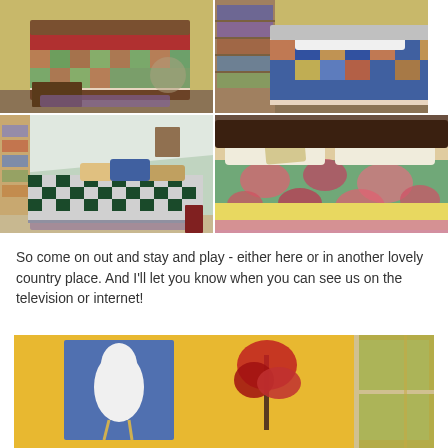[Figure (photo): Top-left: bedroom with single bed covered in floral/patchwork quilt with red blanket, yellow walls, wooden trunk at foot of bed]
[Figure (photo): Top-right: bedroom with queen/full bed with blue patchwork quilt, bookcase filled with books in background]
[Figure (photo): Middle-left: daybed or single bed with black/white checkered quilt and colorful pillows, bookcase on left, sloped ceiling]
[Figure (photo): Middle-right: bed with green and floral quilt and yellow blanket, wooden headboard]
So come on out and stay and play - either here or in another lovely country place. And I'll let you know when you can see us on the television or internet!
[Figure (photo): Bottom: yellow-walled room with painting of a white bird (chicken/duck) on blue background, and a red decorative item, with a window on the right]